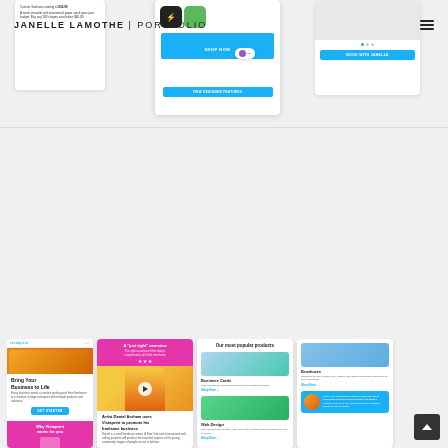JANELLE LAMOTHE | PORTFOLIO
[Figure (screenshot): Portfolio website screenshot showing top navigation bar with logo 'JANELLE LAMOTHE | PORTFOLIO' and hamburger menu, plus three mobile app/website screenshots in the top section: a pricing page, a Vistaprint app center with blue CTA button, and a booking page with dots navigation and blue CTA button.]
[Figure (screenshot): Bottom row of four mobile website screenshots: (1) Vistaprint mobile site with 'Bring Your Business to Life' hero, orange header image, blue CTA, and magenta 'Why Vistaprint works for you' section; (2) Blog article page with magenta header, photo of person in yellow outfit, and article 'Artist Daniel Arsham uses Vistaprint to promote his freelance business'; (3) Products page showing 'Our most popular products' with Business Cards and Web Design items; (4) Brochures product page with blue customer testimonial section.]